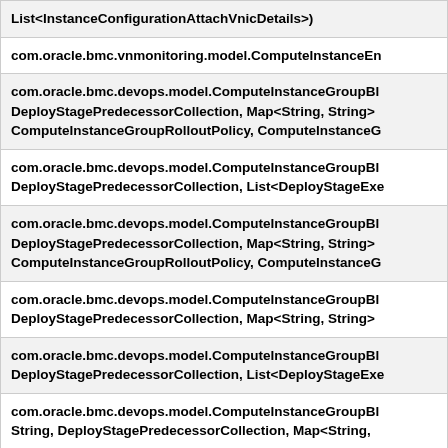| List<InstanceConfigurationAttachVnicDetails>) |
| com.oracle.bmc.vnmonitoring.model.ComputeInstanceEn |
| com.oracle.bmc.devops.model.ComputeInstanceGroupBl
DeployStagePredecessorCollection, Map<String, String>
ComputeInstanceGroupRolloutPolicy, ComputeInstanceG |
| com.oracle.bmc.devops.model.ComputeInstanceGroupBl
DeployStagePredecessorCollection, List<DeployStageExe |
| com.oracle.bmc.devops.model.ComputeInstanceGroupBl
DeployStagePredecessorCollection, Map<String, String>
ComputeInstanceGroupRolloutPolicy, ComputeInstanceG |
| com.oracle.bmc.devops.model.ComputeInstanceGroupBl
DeployStagePredecessorCollection, Map<String, String> |
| com.oracle.bmc.devops.model.ComputeInstanceGroupBl
DeployStagePredecessorCollection, List<DeployStageExe |
| com.oracle.bmc.devops.model.ComputeInstanceGroupBl
String, DeployStagePredecessorCollection, Map<String, |
| com.oracle.bmc.devops.model.ComputeInstanceGroupBy |
| com.oracle.bmc.devops.model.ComputeInstanceGroupBy |
| com.oracle.bmc.devops.model.ComputeInstanceGro |